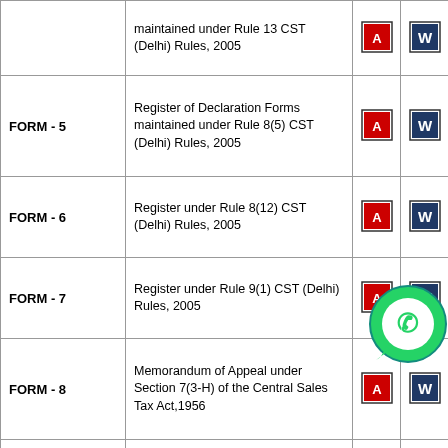| Form | Description | PDF | Word | Excel |
| --- | --- | --- | --- | --- |
|  | maintained under Rule 13 CST (Delhi) Rules, 2005 | [pdf] | [word] | [xls] |
| FORM - 5 | Register of Declaration Forms maintained under Rule 8(5) CST (Delhi) Rules, 2005 | [pdf] | [word] | [xls] |
| FORM - 6 | Register under Rule 8(12) CST (Delhi) Rules, 2005 | [pdf] | [word] | [xls] |
| FORM - 7 | Register under Rule 9(1) CST (Delhi) Rules, 2005 | [pdf] | [word] | [xls] |
| FORM - 8 | Memorandum of Appeal under Section 7(3-H) of the Central Sales Tax Act,1956 | [pdf] | [word] | [xls] |
| FORM - 9 | Reconcilliation Return for Inter-state sales/stock transfer etc. | [pdf] | [word] | [xls] |
| FORM - 10 | Application for cancellation of registration under Central Sales Tax Act,1956 | [pdf] | [word] | [xls] |
| FORM - 11 | Application for amendment of registration under Central Sales Tax Act,1956 | [pdf] | [word] | [xls] |